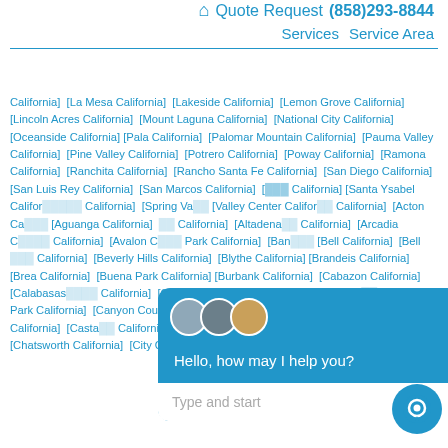🏠 Quote Request (858)293-8844 | Services | Service Area
[California] [La Mesa California] [Lakeside California] [Lemon Grove California] [Lincoln Acres California] [Mount Laguna California] [National City California] [Oceanside California] [Pala California] [Palomar Mountain California] [Pauma Valley California] [Pine Valley California] [Potrero California] [Poway California] [Ramona California] [Ranchita California] [Rancho Santa Fe California] [San Diego California] [San Luis Rey California] [San Marcos California] [California] [Santa Ysabel California] [California] [Spring Valley California] [Valley Center California] [California] [Acton California] [Aguanga California] [California] [Altadena California] [California] [Arcadia California] [California] [Avalon California] [Park California] [Bandini California] [Bell California] [Bell California] [Beverly Hills California] [Blythe California] [Brandeis California] [Brea California] [Buena Park California] [Burbank California] [Cabazon California] [Calabasas California] [California] [Calimesa California] [Camarillo California] [Canoga Park California] [Canyon Country California] [Capistrano Beach California] [Carson California] [Castaic California] [Cathedral City California] [Cerritos California] [Chatsworth California] [City Of Industry California]
[Figure (screenshot): Live chat widget overlay with greeting 'Hello, how may I help you?' and a Type and start input area. Shows three agent avatars and a close button.]